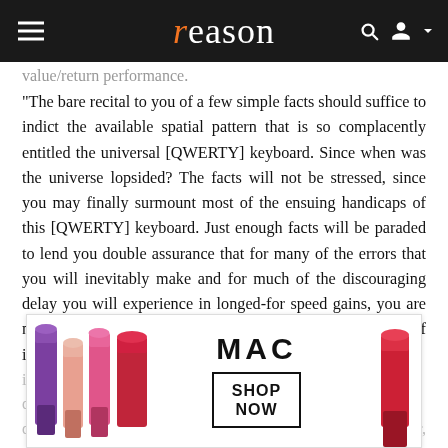reason
value/return performance.
"The bare recital to you of a few simple facts should suffice to indict the available spatial pattern that is so complacently entitled the universal [QWERTY] keyboard. Since when was the universe lopsided? The facts will not be stressed, since you may finally surmount most of the ensuing handicaps of this [QWERTY] keyboard. Just enough facts will be paraded to lend you double assurance that for many of the errors that you will inevitably make and for much of the discouraging delay you will experience in longed-for speed gains, you are not to blame. If you grow indignant over the beginner's role of innocent victim, remember that a little emotion heightens determination—and of the proper kind leads to destruction of the wrong imperative. Isn't it obvious that faster, more accurate, less fatigue...
[Figure (advertisement): MAC cosmetics advertisement showing lipsticks with SHOP NOW button]